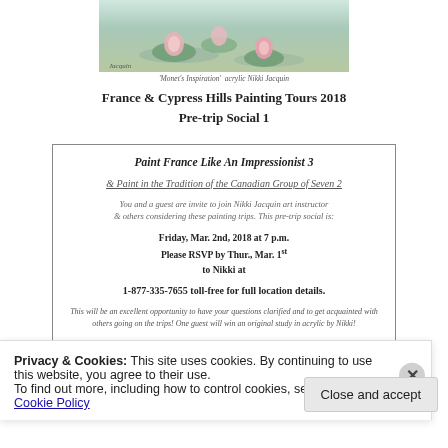[Figure (photo): Partial view of a painting of water lilies by Nikki Jacquin]
'Monet's Inspiration'  acrylic Nikki Jacquin
France & Cypress Hills Painting Tours 2018
Pre-trip Social 1
Paint France Like An Impressionist 3
& Paint in the Tradition of the Canadian Group of Seven 2
You and a guest are invite to join Nikki Jacquin art instructor & others considering these painting trips. This pre-trip social is:
Friday, Mar. 2nd, 2018 at 7 p.m.
Please RSVP by Thur., Mar. 1st
to Nikki at
1-877-335-7655 toll-free for full location details.
This will be an excellent opportunity to have your questions clarified and to get acquainted with others going on the trips! One guest will win an original study in acrylic by Nikki!
Privacy & Cookies: This site uses cookies. By continuing to use this website, you agree to their use.
To find out more, including how to control cookies, see here: Cookie Policy
Close and accept